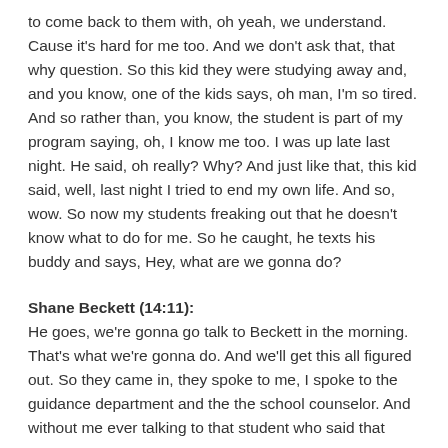to come back to them with, oh yeah, we understand. Cause it's hard for me too. And we don't ask that, that why question. So this kid they were studying away and, and you know, one of the kids says, oh man, I'm so tired. And so rather than, you know, the student is part of my program saying, oh, I know me too. I was up late last night. He said, oh really? Why? And just like that, this kid said, well, last night I tried to end my own life. And so, wow. So now my students freaking out that he doesn't know what to do for me. So he caught, he texts his buddy and says, Hey, what are we gonna do?
Shane Beckett (14:11): He goes, we're gonna go talk to Beckett in the morning. That's what we're gonna do. And we'll get this all figured out. So they came in, they spoke to me, I spoke to the guidance department and the the school counselor. And without me ever talking to that student who said that